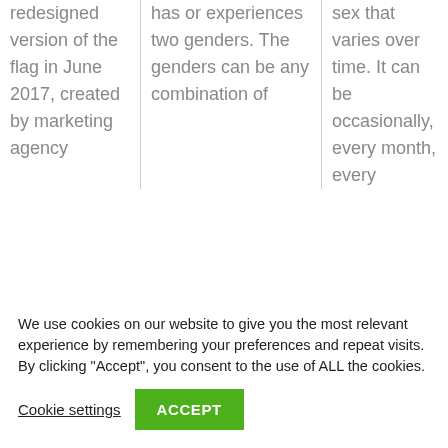| redesigned version of the flag in June 2017, created by marketing agency | has or experiences two genders. The genders can be any combination of | sex that varies over time. It can be occasionally, every month, every |
We use cookies on our website to give you the most relevant experience by remembering your preferences and repeat visits. By clicking “Accept”, you consent to the use of ALL the cookies.
Cookie settings   ACCEPT